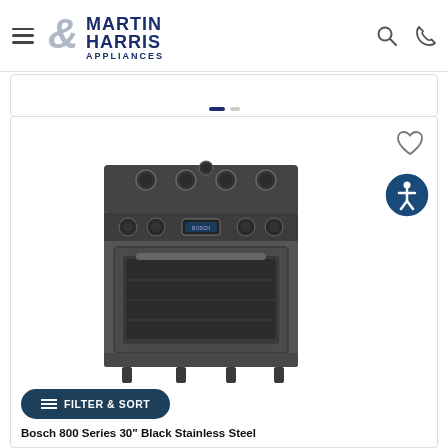Martin & Harris Appliances — navigation header with hamburger menu, logo, search and phone icons
[Figure (photo): Bosch 800 Series 30 inch Black Stainless Steel gas range with 5 burners, digital display, and large oven window]
FILTER & SORT
Bosch 800 Series 30" Black Stainless Steel